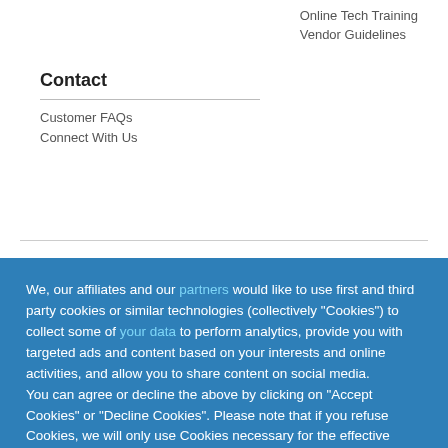Online Tech Training
Vendor Guidelines
Contact
Customer FAQs
Connect With Us
We, our affiliates and our partners would like to use first and third party cookies or similar technologies (collectively “Cookies”) to collect some of your data to perform analytics, provide you with targeted ads and content based on your interests and online activities, and allow you to share content on social media.
You can agree or decline the above by clicking on “Accept Cookies” or “Decline Cookies”. Please note that if you refuse Cookies, we will only use Cookies necessary for the effective operation of the website. You can find out more by reading our cookies policy.